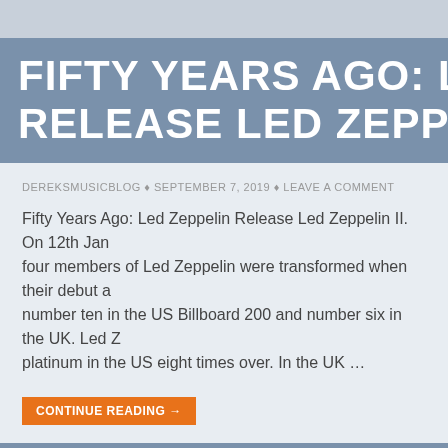FIFTY YEARS AGO: LED ZEPPELIN RELEASE LED ZEPPELIN II.
DEREKSMUSICBLOG ♦ SEPTEMBER 7, 2019 ♦ LEAVE A COMMENT
Fifty Years Ago: Led Zeppelin Release Led Zeppelin II. On 12th January, four members of Led Zeppelin were transformed when their debut album reached number ten in the US Billboard 200 and number six in the UK. Led Zeppelin had gone platinum in the US eight times over. In the UK …
CONTINUE READING →
THE BLUE NILE-HATS